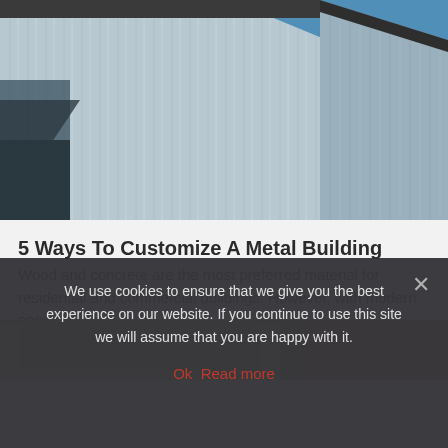[Figure (photo): Photograph of a metal building exterior with vertical corrugated siding panels, viewed from below against a blue sky. The building has dark trim and eave details.]
5 Ways To Customize A Metal Building
Wood and concrete are the most preferred material for residential and commercial buildings. However, with modern enginee...
[Figure (photo): Partial photograph showing architectural blueprints/plans and a person's face partially visible in the background.]
We use cookies to ensure that we give you the best experience on our website. If you continue to use this site we will assume that you are happy with it.
Ok  Read more